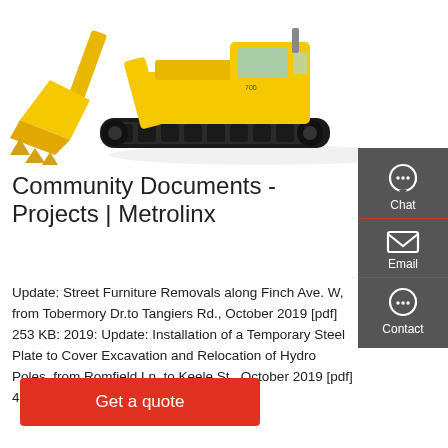[Figure (photo): Yellow excavator / crawler with large bucket arm on white background, Metrolinx community documents page header image]
Community Documents - Projects | Metrolinx
Update: Street Furniture Removals along Finch Ave. W, from Tobermory Dr.to Tangiers Rd., October 2019 [pdf] 253 KB: 2019: Update: Installation of a Temporary Steel Plate to Cover Excavation and Relocation of Hydro Poles, from Romfield Ln. to Keele St., October 2019 [pdf] 467 KB: 2019
[Figure (infographic): Dark grey sidebar with Chat, Email, and Contact icon buttons]
Get a quote